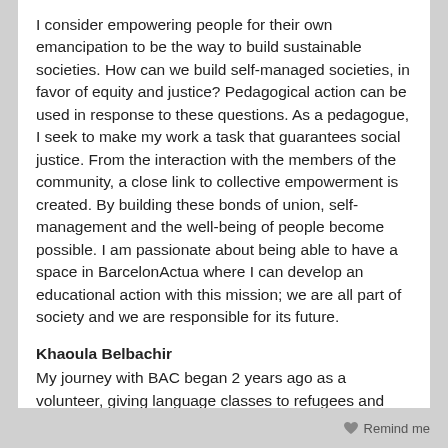I consider empowering people for their own emancipation to be the way to build sustainable societies. How can we build self-managed societies, in favor of equity and justice? Pedagogical action can be used in response to these questions. As a pedagogue, I seek to make my work a task that guarantees social justice. From the interaction with the members of the community, a close link to collective empowerment is created. By building these bonds of union, self-management and the well-being of people become possible. I am passionate about being able to have a space in BarcelonActua where I can develop an educational action with this mission; we are all part of society and we are responsible for its future.
Khaoula Belbachir
My journey with BAC began 2 years ago as a volunteer, giving language classes to refugees and humanitarian immigrants. The classes allowed me to know first-
Remind me